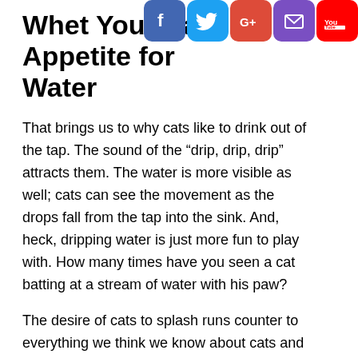[Figure (infographic): Social media share icons: Facebook (blue), Twitter (light blue), Google+ (red), Email/envelope (purple), YouTube (red) arranged horizontally in top-right corner]
Whet Your Cat's Appetite for Water
That brings us to why cats like to drink out of the tap. The sound of the “drip, drip, drip” attracts them. The water is more visible as well; cats can see the movement as the drops fall from the tap into the sink. And, heck, dripping water is just more fun to play with. How many times have you seen a cat batting at a stream of water with his paw?
The desire of cats to splash runs counter to everything we think we know about cats and water. Sure, some cats don’t like it, but many bat at running water with abandon or even swim if given the opportunity. (Wild cats, such as jaguars and tigers, are often seen swimming in rivers.) Many cats love running water so much that they teach themselves how to turn on the tap or train their